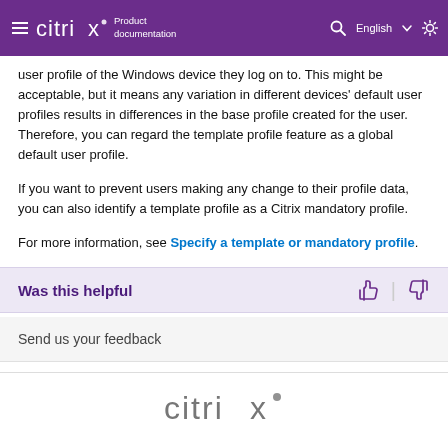Citrix Product documentation | English
user profile of the Windows device they log on to. This might be acceptable, but it means any variation in different devices' default user profiles results in differences in the base profile created for the user. Therefore, you can regard the template profile feature as a global default user profile.
If you want to prevent users making any change to their profile data, you can also identify a template profile as a Citrix mandatory profile.
For more information, see Specify a template or mandatory profile.
Was this helpful
Send us your feedback
[Figure (logo): Citrix logo in gray at bottom footer]